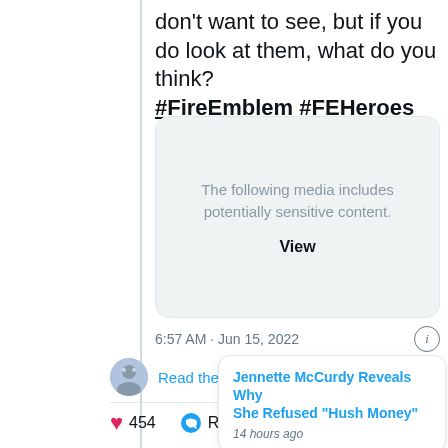don't want to see, but if you do look at them, what do you think? #FireEmblem #FEHeroes
[Figure (screenshot): Sensitive media placeholder box with text: The following media includes potentially sensitive content. View]
6:57 AM · Jun 15, 2022
Read the full conversation on Twitter
❤ 454  Reply  Copy link
Jennette McCurdy Reveals Why She Refused "Hush Money"
14 hours ago
The posts claim the game is a brand new entry in the series with multiple new characters and a